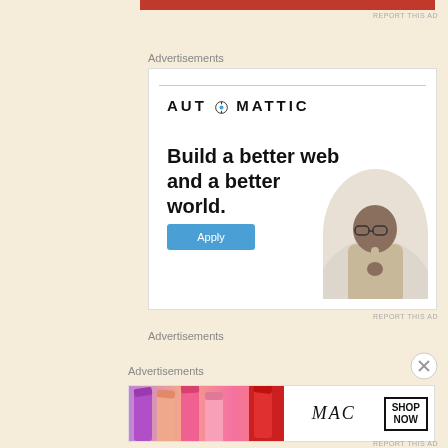[Figure (other): Red banner advertisement bar at top of page]
REPORT THIS AD
Advertisements
[Figure (other): Automattic advertisement - Build a better web and a better world. With Apply button and person thinking image]
REPORT THIS AD
Advertisements
Advertisements
[Figure (other): MAC cosmetics advertisement showing lipsticks with SHOP NOW button]
REPORT THIS AD